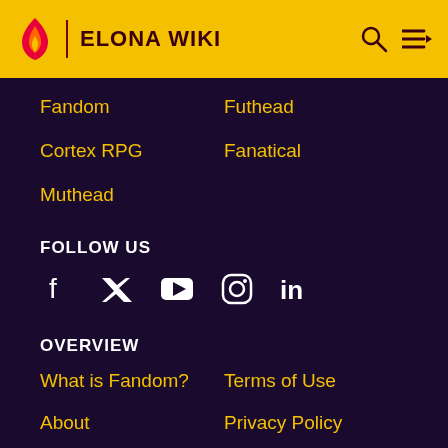ELONA WIKI
Fandom
Futhead
Cortex RPG
Fanatical
Muthead
FOLLOW US
[Figure (infographic): Social media icons: Facebook, Twitter, YouTube, Instagram, LinkedIn]
OVERVIEW
What is Fandom?
Terms of Use
About
Privacy Policy
Careers
Global Sitemap